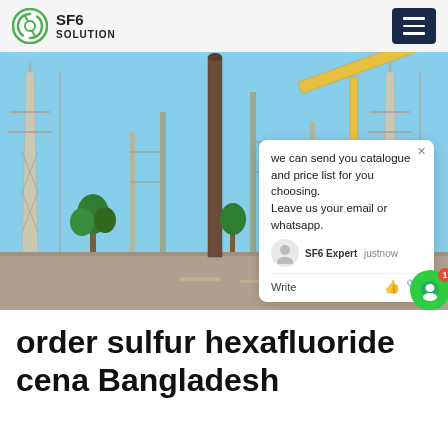SF6 SOLUTION
[Figure (photo): Yellow truck/container at an electrical substation with tall transmission towers and infrastructure in the background. Blue sky overhead. SF6China watermark in orange at bottom right. A chat popup overlay on the right side reads: 'we can send you catalogue and price list for you choosing. Leave us your email or whatsapp.' with SF6 Expert avatar and 'justnow' timestamp.]
order sulfur hexafluoride cena Bangladesh